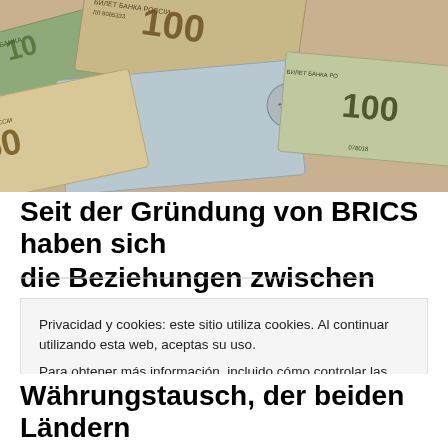[Figure (photo): Pile of Russian ruble banknotes (50 and 100 ruble notes) spread out, showing Cyrillic text 'БИЛЕТ БАНКА РОССIИ' and serial numbers]
Seit der Gründung von BRICS haben sich
die Beziehungen zwischen Russland und
Privacidad y cookies: este sitio utiliza cookies. Al continuar utilizando esta web, aceptas su uso.
Para obtener más información, incluido cómo controlar las cookies, consulta aquí: Política de cookies
Cerrar y aceptar
Währungstausch, der beiden Ländern